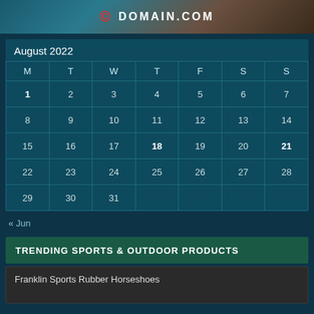[Figure (photo): Banner image with domain.com logo and dark background]
| M | T | W | T | F | S | S |
| --- | --- | --- | --- | --- | --- | --- |
| 1 | 2 | 3 | 4 | 5 | 6 | 7 |
| 8 | 9 | 10 | 11 | 12 | 13 | 14 |
| 15 | 16 | 17 | 18 | 19 | 20 | 21 |
| 22 | 23 | 24 | 25 | 26 | 27 | 28 |
| 29 | 30 | 31 |  |  |  |  |
« Jun
TRENDING SPORTS & OUTDOOR PRODUCTS
Franklin Sports Rubber Horseshoes